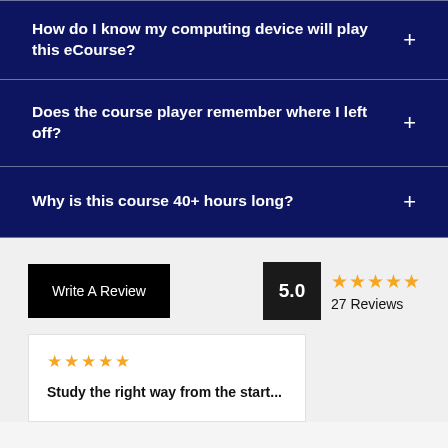How do I know my computing device will play this eCourse?
Does the course player remember where I left off?
Why is this course 40+ hours long?
Write A Review
5.0
27 Reviews
Study the right way from the start...